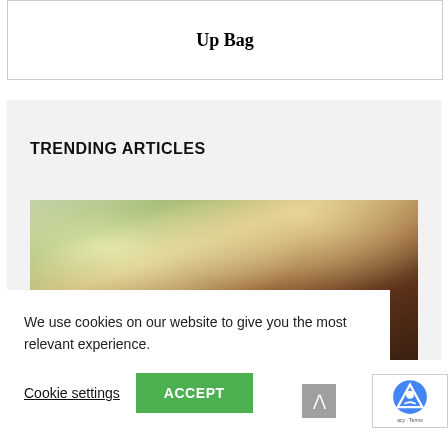Up Bag
TRENDING ARTICLES
[Figure (photo): Outdoor photo showing a person with dark hair from behind, holding what appears to be a reflective or glass object, with bright sunlight and trees in the background]
We use cookies on our website to give you the most relevant experience.
Cookie settings
ACCEPT